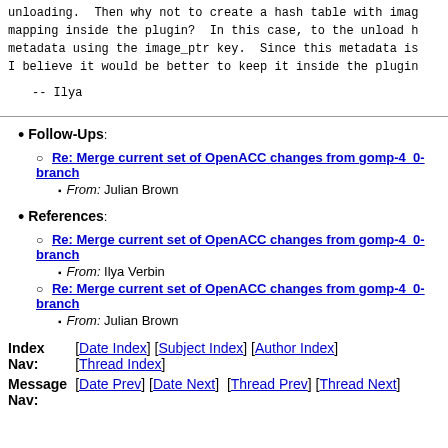unloading.  Then why not to create a hash table with image mapping inside the plugin?  In this case, to the unload handler metadata using the image_ptr key.  Since this metadata is I believe it would be better to keep it inside the plugin
-- Ilya
Follow-Ups:
Re: Merge current set of OpenACC changes from gomp-4_0-branch
From: Julian Brown
References:
Re: Merge current set of OpenACC changes from gomp-4_0-branch
From: Ilya Verbin
Re: Merge current set of OpenACC changes from gomp-4_0-branch
From: Julian Brown
Index Nav:  [Date Index] [Subject Index] [Author Index] [Thread Index]
Message Nav: [Date Prev] [Date Next]  [Thread Prev] [Thread Next]